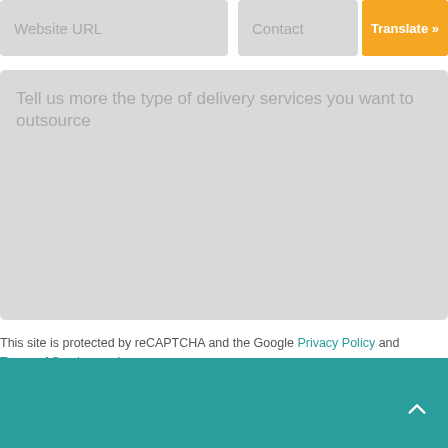[Figure (screenshot): Web form input field placeholder reading 'Website URL' with light gray background]
[Figure (screenshot): Web form input field placeholder reading 'Contact' with light gray background]
[Figure (screenshot): Orange 'Translate »' button]
[Figure (screenshot): Large gray textarea with placeholder text 'Tell us more the type of delivery services you want to outsource']
This site is protected by reCAPTCHA and the Google Privacy Policy and Terms of Service apply
[Figure (screenshot): Teal 'GET QUOTE' button]
[Figure (screenshot): Teal footer bar with white up-arrow caret icon in bottom right]